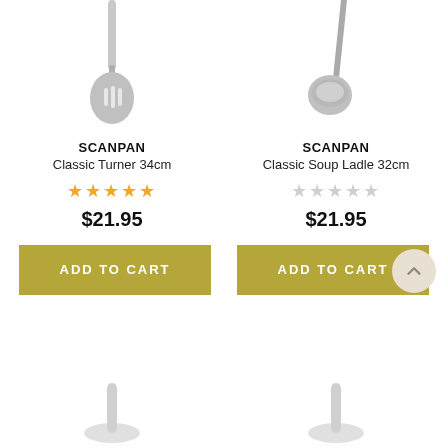[Figure (photo): Scanpan Classic Turner 34cm kitchen utensil, silver/grey spatula shown from above]
[Figure (photo): Scanpan Classic Soup Ladle 32cm, stainless steel ladle shown from above]
SCANPAN
Classic Turner 34cm
★★★★★ (5 filled stars)
$21.95
SCANPAN
Classic Soup Ladle 32cm
★★★★★ (5 empty stars)
$21.95
ADD TO CART
ADD TO CART